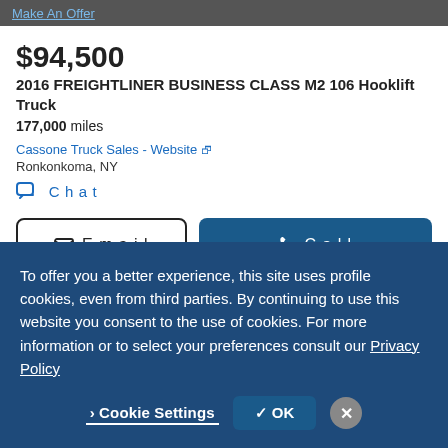Make An Offer
$94,500
2016 FREIGHTLINER BUSINESS CLASS M2 106 Hooklift Truck
177,000 miles
Cassone Truck Sales - Website
Ronkonkoma, NY
Chat
Email
Call
Video chat with this dealer
To offer you a better experience, this site uses profile cookies, even from third parties. By continuing to use this website you consent to the use of cookies. For more information or to select your preferences consult our Privacy Policy
Cookie Settings
OK